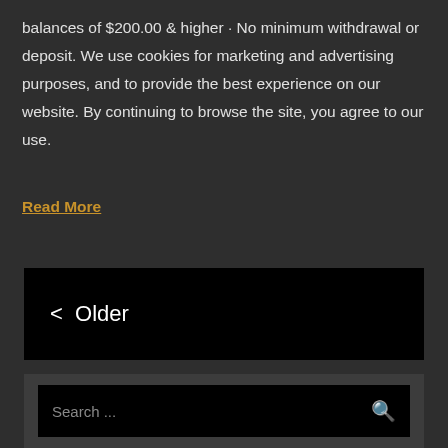balances of $200.00 & higher · No minimum withdrawal or deposit. We use cookies for marketing and advertising purposes, and to provide the best experience on our website. By continuing to browse the site, you agree to our use.
Read More
< Older
Search ...